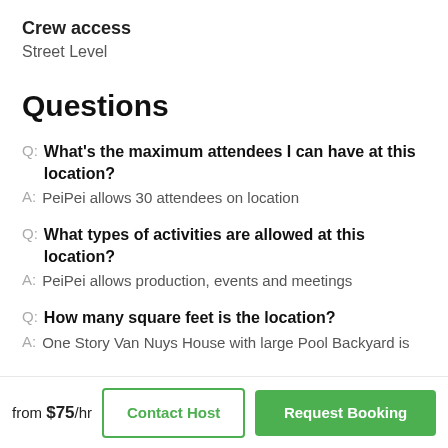Crew access
Street Level
Questions
Q: What's the maximum attendees I can have at this location?
A: PeiPei allows 30 attendees on location
Q: What types of activities are allowed at this location?
A: PeiPei allows production, events and meetings
Q: How many square feet is the location?
A: One Story Van Nuys House with large Pool Backyard is
from $75/hr
Contact Host
Request Booking